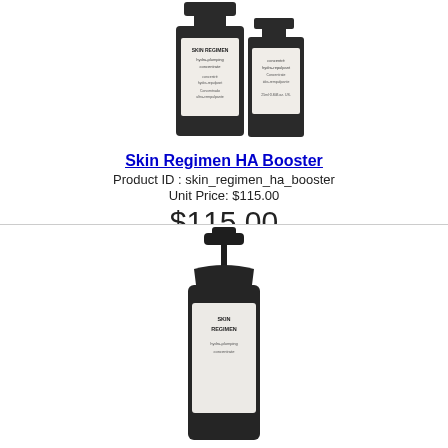[Figure (photo): Two dark glass bottles of Skin Regimen HA Booster hydra-plumping concentrate product, one larger and one smaller, shown from the front against white background]
Skin Regimen HA Booster
Product ID : skin_regimen_ha_booster
Unit Price: $115.00
$115.00
1
Add to Cart
[Figure (photo): Dark glass pump bottle of a skincare product, partially visible at the bottom of the page, against white background]